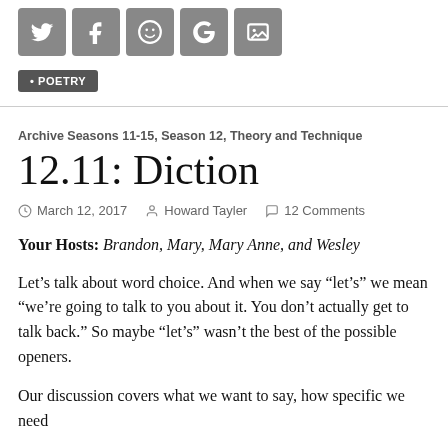[Figure (other): Row of five gray social media icon buttons (Twitter, Facebook, smiley/Google+, Google, image/photo icons)]
• POETRY
Archive Seasons 11-15, Season 12, Theory and Technique
12.11: Diction
March 12, 2017   Howard Tayler   12 Comments
Your Hosts: Brandon, Mary, Mary Anne, and Wesley
Let’s talk about word choice. And when we say “let’s” we mean “we’re going to talk to you about it. You don’t actually get to talk back.” So maybe “let’s” wasn’t the best of the possible openers.
Our discussion covers what we want to say, how specific we need